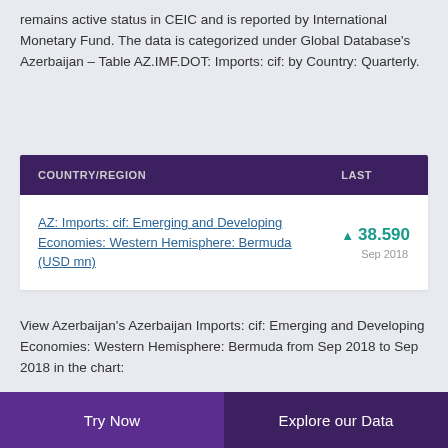remains active status in CEIC and is reported by International Monetary Fund. The data is categorized under Global Database's Azerbaijan – Table AZ.IMF.DOT: Imports: cif: by Country: Quarterly.
| COUNTRY/REGION | LAST |
| --- | --- |
| AZ: Imports: cif: Emerging and Developing Economies: Western Hemisphere: Bermuda (USD mn) | ▲ 38.590 Sep 2018 |
View Azerbaijan's Azerbaijan Imports: cif: Emerging and Developing Economies: Western Hemisphere: Bermuda from Sep 2018 to Sep 2018 in the chart:
Try Now    Explore our Data